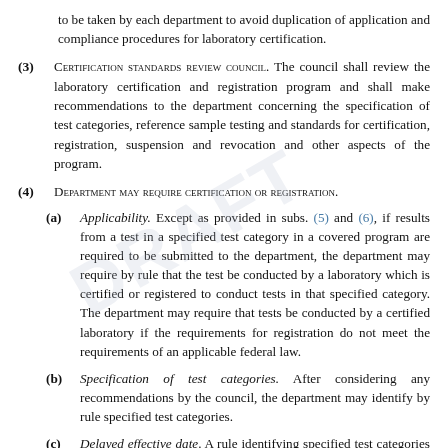to be taken by each department to avoid duplication of application and compliance procedures for laboratory certification.
(3) CERTIFICATION STANDARDS REVIEW COUNCIL. The council shall review the laboratory certification and registration program and shall make recommendations to the department concerning the specification of test categories, reference sample testing and standards for certification, registration, suspension and revocation and other aspects of the program.
(4) DEPARTMENT MAY REQUIRE CERTIFICATION OR REGISTRATION.
(a) Applicability. Except as provided in subs. (5) and (6), if results from a test in a specified test category in a covered program are required to be submitted to the department, the department may require by rule that the test be conducted by a laboratory which is certified or registered to conduct tests in that specified category. The department may require that tests be conducted by a certified laboratory if the requirements for registration do not meet the requirements of an applicable federal law.
(b) Specification of test categories. After considering any recommendations by the council, the department may identify by rule specified test categories.
(c) Delayed effective date. A rule identifying specified test categories for which tests are required to be conducted by a certified or registered laboratory may not take effect until at